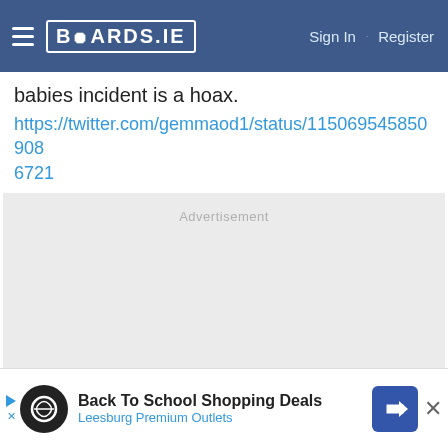BOARDS.IE  Sign In · Register
babies incident is a hoax.
https://twitter.com/gemmaod1/status/1150695458509086721
[Figure (other): Advertisement placeholder box with light grey background and 'Advertisement' label]
[Figure (other): Bottom banner ad: Back To School Shopping Deals - Leesburg Premium Outlets, with close button]